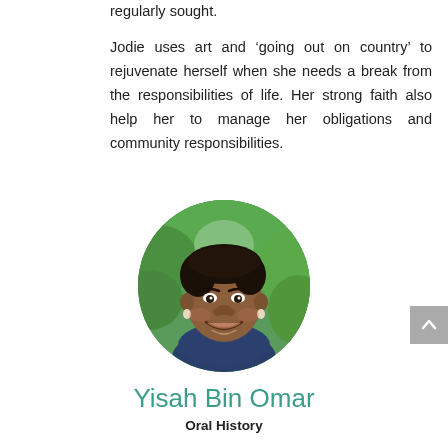regularly sought.

Jodie uses art and ‘going out on country’ to rejuvenate herself when she needs a break from the responsibilities of life. Her strong faith also help her to manage her obligations and community responsibilities.
[Figure (photo): Circular portrait photo of Yisah Bin Omar, a woman with short dark hair, smiling, wearing a dark navy top, with green foliage in the background.]
Yisah Bin Omar
Oral History